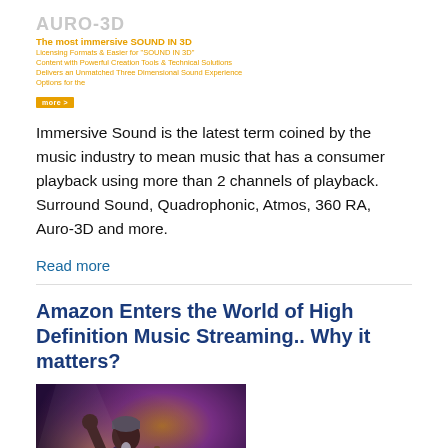[Figure (logo): AURO-3D logo with tagline 'The most immersive SOUND IN 3D', bullet lines about features, and an orange promo button]
Immersive Sound is the latest term coined by the music industry to mean music that has a consumer playback using more than 2 channels of playback. Surround Sound, Quadrophonic, Atmos, 360 RA, Auro-3D and more.
Read more
Amazon Enters the World of High Definition Music Streaming.. Why it matters?
[Figure (photo): Concert photo of a guitarist performing on stage with purple lighting, raising one fist, with drums visible in the background]
We've all known it was a matter of time before Amazon, Apple and all